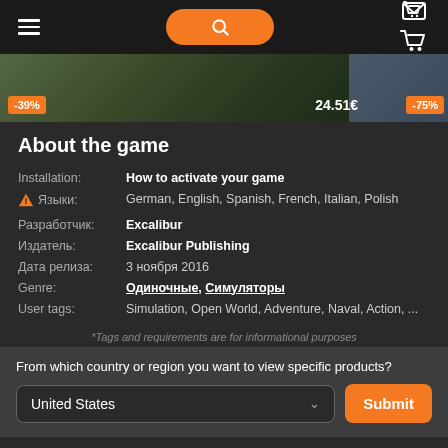Navigation bar with hamburger menu, search button, and cart icon
[Figure (screenshot): Banner showing game image with -39% badge, price 24.51€, and -75% badge]
About the game
| Label | Value |
| --- | --- |
| Installation: | How to activate your game |
| ⚠ Языки: | German, English, Spanish, French, Italian, Polish |
| Разработчик: | Excalibur |
| Издатель: | Excalibur Publishing |
| Дата релиза: | 3 ноября 2016 |
| Genre: | Одиночные, Симуляторы |
| User tags: | Simulation, Open World, Adventure, Naval, Action, ... |
*Tags and requirements are for informational purposes
From which country or region you want to view specific products?
United States
Submit